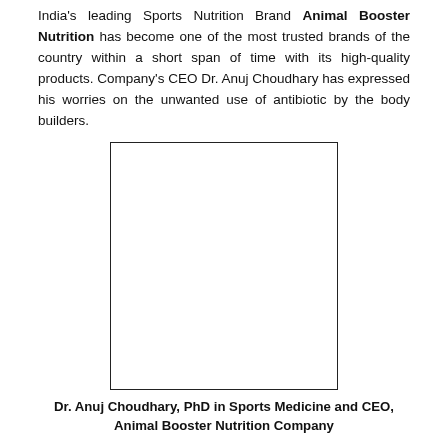India's leading Sports Nutrition Brand Animal Booster Nutrition has become one of the most trusted brands of the country within a short span of time with its high-quality products. Company's CEO Dr. Anuj Choudhary has expressed his worries on the unwanted use of antibiotic by the body builders.
[Figure (photo): Portrait photo of Dr. Anuj Choudhary, PhD in Sports Medicine and CEO, Animal Booster Nutrition Company]
Dr. Anuj Choudhary, PhD in Sports Medicine and CEO, Animal Booster Nutrition Company
Dr. Anuj Choudhary, PhD in Sports Medicine and CEO, Animal Booster Nutrition Company said, "Antibiotics are a precious resource, but wrong intake can harm the life of a sportsmen individually as well as his professional life. So it is